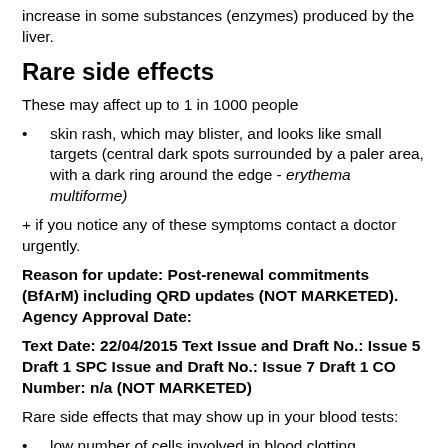increase in some substances (enzymes) produced by the liver.
Rare side effects
These may affect up to 1 in 1000 people
skin rash, which may blister, and looks like small targets (central dark spots surrounded by a paler area, with a dark ring around the edge - erythema multiforme)
+ if you notice any of these symptoms contact a doctor urgently.
Reason for update: Post-renewal commitments (BfArM) including QRD updates (NOT MARKETED). Agency Approval Date:
Text Date: 22/04/2015 Text Issue and Draft No.: Issue 5 Draft 1 SPC Issue and Draft No.: Issue 7 Draft 1 CO Number: n/a (NOT MARKETED)
Rare side effects that may show up in your blood tests:
low number of cells involved in blood clotting